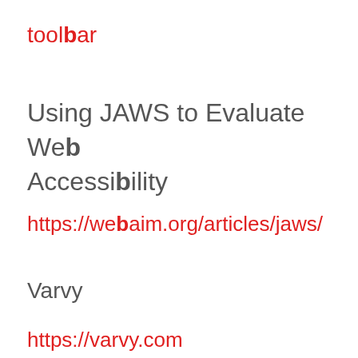toolbar
Using JAWS to Evaluate Web Accessibility
https://webaim.org/articles/jaws/
Varvy
https://varvy.com